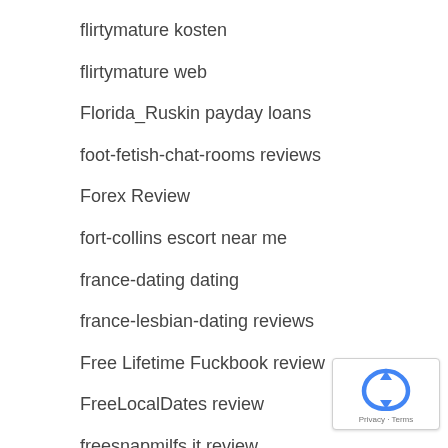flirtymature kosten
flirtymature web
Florida_Ruskin payday loans
foot-fetish-chat-rooms reviews
Forex Review
fort-collins escort near me
france-dating dating
france-lesbian-dating reviews
Free Lifetime Fuckbook review
FreeLocalDates review
freesnapmilfs it review
fremont escort near me